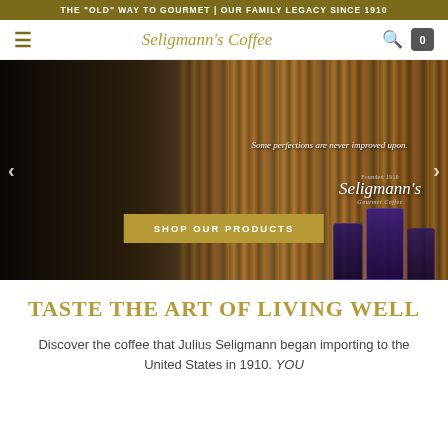THE "OLD" WAY TO GOURMET | OUR FAMILY LEGACY SINCE 1910
Seligmann's Coffee
[Figure (photo): Hero banner showing a bearded man in a grey suit sipping from a white coffee cup in a wood-paneled library with bookshelves. Text overlay reads 'Some perfections are never improved upon.' with Seligmann's Gourmet Coffee logo and product packages. A gold 'SHOP OUR PRODUCTS' button is centered over the image.]
TASTE THE ART OF LIVING WELL
Discover the coffee that Julius Seligmann began importing to the United States in 1910. YOU